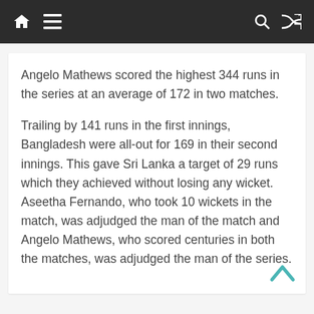Navigation bar with home, menu, search, and shuffle icons
Angelo Mathews scored the highest 344 runs in the series at an average of 172 in two matches.
Trailing by 141 runs in the first innings, Bangladesh were all-out for 169 in their second innings. This gave Sri Lanka a target of 29 runs which they achieved without losing any wicket. Aseetha Fernando, who took 10 wickets in the match, was adjudged the man of the match and Angelo Mathews, who scored centuries in both the matches, was adjudged the man of the series.